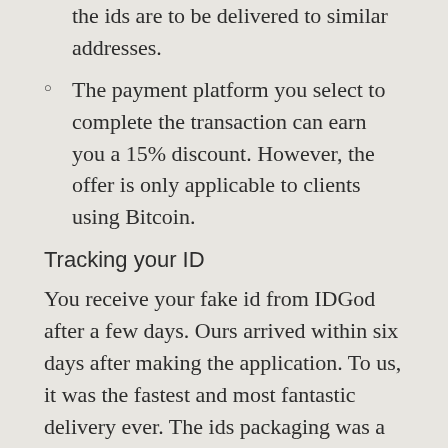the ids are to be delivered to similar addresses.
The payment platform you select to complete the transaction can earn you a 15% discount. However, the offer is only applicable to clients using Bitcoin.
Tracking your ID
You receive your fake id from IDGod after a few days. Ours arrived within six days after making the application. To us, it was the fastest and most fantastic delivery ever. The ids packaging was a USPS box, and it was impossible to suspect what was inside the package.
For real, their mode of stealth in delivering orders is quite complicated. Trying to follow it can make your